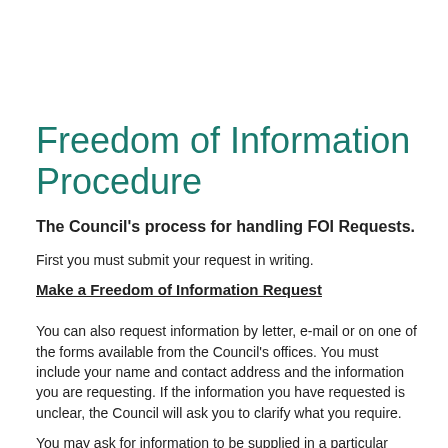Freedom of Information Procedure
The Council's process for handling FOI Requests.
First you must submit your request in writing.
Make a Freedom of Information Request
You can also request information by letter, e-mail or on one of the forms available from the Council's offices.  You must include your name and contact address and the information you are requesting.  If the information you have requested is unclear, the Council will ask you to clarify what you require.
You may ask for information to be supplied in a particular